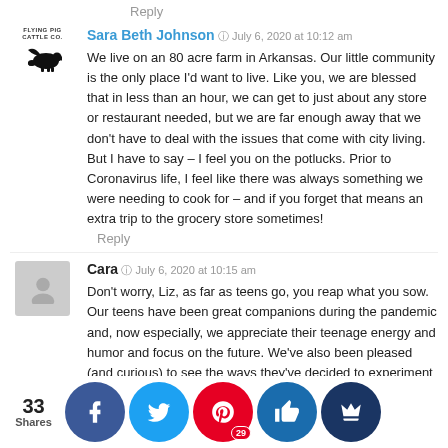Reply
Sara Beth Johnson  ©  July 6, 2020 at 10:12 am
We live on an 80 acre farm in Arkansas. Our little community is the only place I'd want to live. Like you, we are blessed that in less than an hour, we can get to just about any store or restaurant needed, but we are far enough away that we don't have to deal with the issues that come with city living. But I have to say – I feel you on the potlucks. Prior to Coronavirus life, I feel like there was always something we were needing to cook for – and if you forget that means an extra trip to the grocery store sometimes!
Reply
Cara  ©  July 6, 2020 at  10:15 am
Don't worry, Liz, as far as teens go, you reap what you sow. Our teens have been great companions during the pandemic and, now especially, we appreciate their teenage energy and humor and focus on the future. We've also been pleased (and curious) to see the ways they've decided to experiment and upskill with their time, not prompted from us. When they embrace rural endeavors, (I'd call this near-suburb, much like…
33 Shares